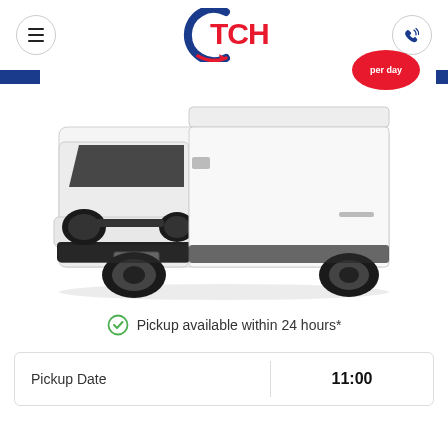[Figure (logo): TCH company logo with blue arc and red TCH text]
[Figure (photo): White high-roof cargo van (Mercedes Sprinter style) on white background with red 'per day' badge in top right]
Pickup available within 24 hours*
| Pickup Date | 11:00 |
| --- | --- |